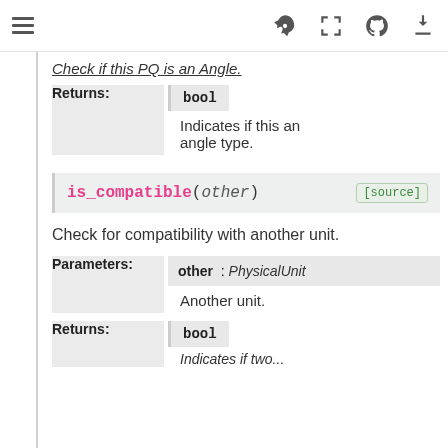Navigation header with hamburger menu and icons
Check if this PQ is an Angle.
| Returns: |  |
| --- | --- |
|  | bool
Indicates if this an angle type. |
is_compatible(other) [source]
Check for compatibility with another unit.
| Parameters: |  |
| --- | --- |
|  | other : PhysicalUnit
Another unit. |
| Returns: |  |
| --- | --- |
|  | bool
Indicates if two... |